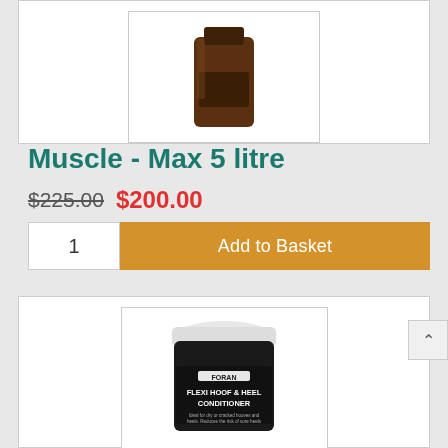[Figure (photo): Dark brown liquid product container (Muscle-Max 5 litre) in a white bordered box]
Muscle - Max 5 litre
$225.00  $200.00
1   Add to Basket
[Figure (photo): Foran Flexi Hoof & Heel Conditioner tub with white lid on dark label]